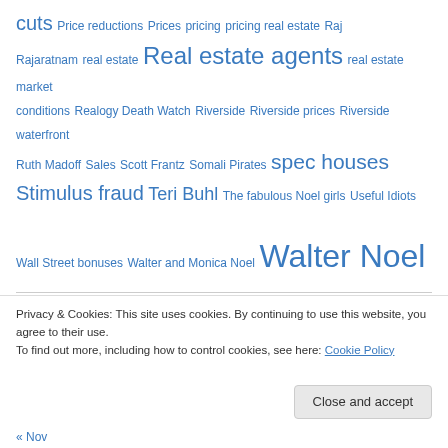cuts Price reductions Prices pricing pricing real estate Raj Rajaratnam real estate Real estate agents real estate market conditions Realogy Death Watch Riverside Riverside prices Riverside waterfront Ruth Madoff Sales Scott Frantz Somali Pirates spec houses Stimulus fraud Teri Buhl The fabulous Noel girls Useful Idiots Wall Street bonuses Walter and Monica Noel Walter Noel
| M | T | W | T | F | S | S |
| --- | --- | --- | --- | --- | --- | --- |
Privacy & Cookies: This site uses cookies. By continuing to use this website, you agree to their use.
To find out more, including how to control cookies, see here: Cookie Policy
Close and accept
« Nov